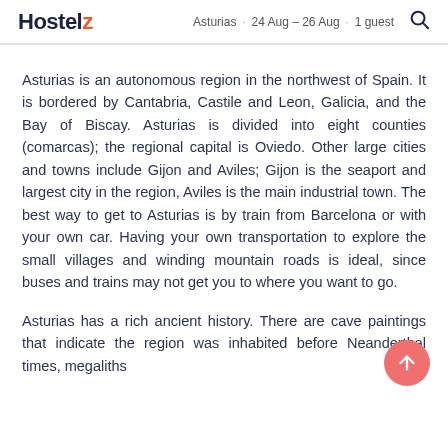Hostelz  Asturias · 24 Aug – 26 Aug · 1 guest
Asturias is an autonomous region in the northwest of Spain. It is bordered by Cantabria, Castile and Leon, Galicia, and the Bay of Biscay. Asturias is divided into eight counties (comarcas); the regional capital is Oviedo. Other large cities and towns include Gijon and Aviles; Gijon is the seaport and largest city in the region, Aviles is the main industrial town. The best way to get to Asturias is by train from Barcelona or with your own car. Having your own transportation to explore the small villages and winding mountain roads is ideal, since buses and trains may not get you to where you want to go.
Asturias has a rich ancient history. There are cave paintings that indicate the region was inhabited before Neanderthal times, megaliths and items from the Bronze Age and Celtic culture have been discovered in the region.